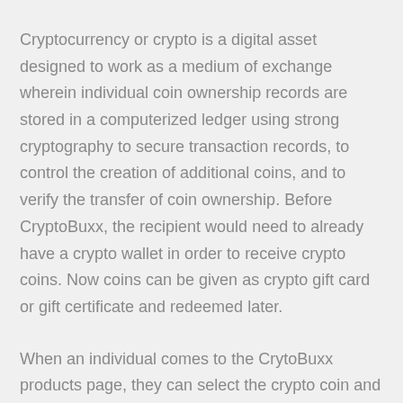Cryptocurrency or crypto is a digital asset designed to work as a medium of exchange wherein individual coin ownership records are stored in a computerized ledger using strong cryptography to secure transaction records, to control the creation of additional coins, and to verify the transfer of coin ownership. Before CryptoBuxx, the recipient would need to already have a crypto wallet in order to receive crypto coins. Now coins can be given as crypto gift card or gift certificate and redeemed later.
When an individual comes to the CrytoBuxx products page, they can select the crypto coin and denomination and type (card, paper or digital) and number of Buxx requested. The